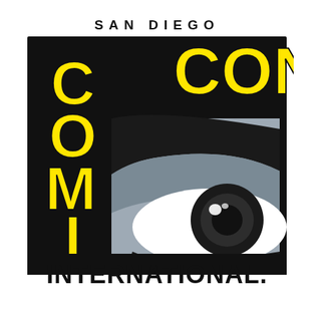[Figure (logo): San Diego Comic-Con International logo. Black bordered box with yellow bold text 'COMIC' running vertically on the left side, yellow bold 'CON' text in the top right area, a gray square in the lower right containing a stylized comic-book eye illustration (with dark eyebrow, white sclera, dark iris, and highlight dots), and 'INTERNATIONAL.' in large bold black text at the bottom. Above the main box, 'SAN DIEGO' is written in spaced black capital letters on a white background.]